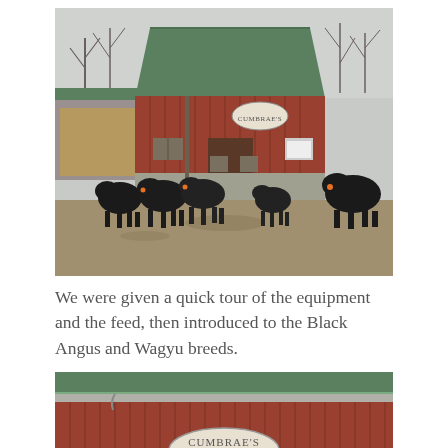[Figure (photo): Photograph of black Angus cattle standing in a muddy farmyard in front of a red wooden barn with a green roof. A sign reading 'CUMBRAE'S' is visible on the barn. Several black cattle face the camera, with one standing separately to the right.]
We were given a quick tour of the equipment and the feed, then introduced to the Black Angus and Wagyu breeds.
[Figure (photo): Partial photograph of the same red wooden barn with green roof, showing a 'CUMBRAE'S' oval sign on the barn face, viewed from a lower angle.]